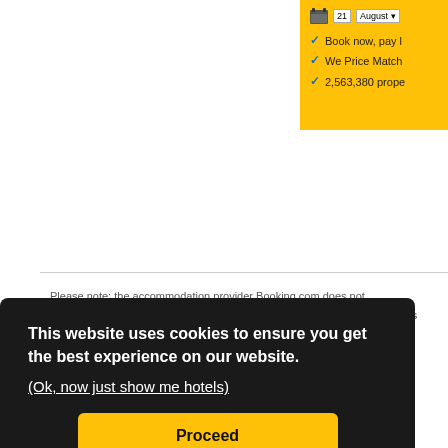[Figure (screenshot): Booking.com widget showing calendar icon with date '21' and 'August', and three checkmarks: 'Book now, pay l...', 'We Price Match', '2,563,380 prope...']
Please note: the accommodation provider Booking.com does not
states
This website uses cookies to ensure you get the best experience on our website.
(Ok, now just show me hotels)
Proceed